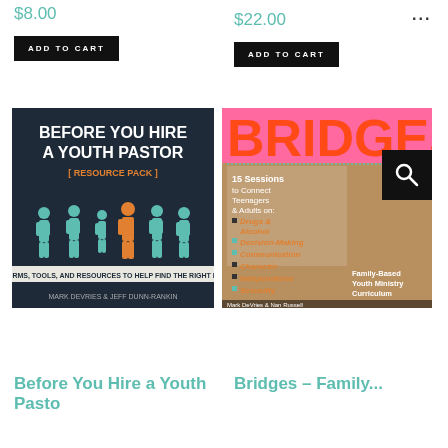$8.00
ADD TO CART
$22.00
...
ADD TO CART
[Figure (photo): Book cover: Before You Hire a Youth Pastor [Resource Pack] by Mark DeVries & Jeff Dunn-Rankin. Dark background with silhouettes of people, one highlighted in orange. Subtitle: Forms, Tools, and Resources to Help Find the Right Fit.]
[Figure (photo): Book cover: Bridges - Family-Based Youth Ministry Curriculum by Mark DeVries & Nan Russell. Pink/orange title BRIDGES with photos of teenagers and adults. Lists 15 Sessions to Connect Teenagers & Adults on: Drugs & Alcohol, Decision-Making, Communication, Character, Independence, Sexuality.]
Before You Hire a Youth Pastor
Bridges – Family...